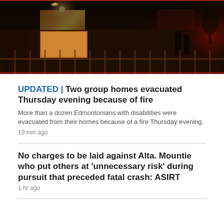[Figure (photo): Night-time exterior photo of a residential house with lights on, fence visible in foreground, red glow on right side suggesting fire or emergency lighting, and silhouettes of people near the entrance.]
UPDATED | Two group homes evacuated Thursday evening because of fire
More than a dozen Edmontonians with disabilities were evacuated from their homes because of a fire Thursday evening.
19 min ago
No charges to be laid against Alta. Mountie who put others at 'unnecessary risk' during pursuit that preceded fatal crash: ASIRT
1 hr ago